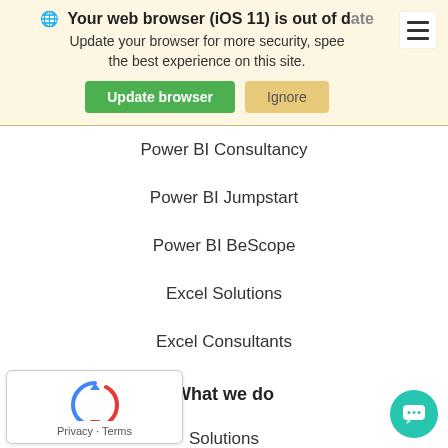🌐 Your web browser (iOS 11) is out of date. Update your browser for more security, speed and the best experience on this site. [Update browser] [Ignore]
Power BI Consultancy
Power BI Jumpstart
Power BI BeScope
Excel Solutions
Excel Consultants
What we do
Solutions
Consultancy
Expert Excel & Power BI training